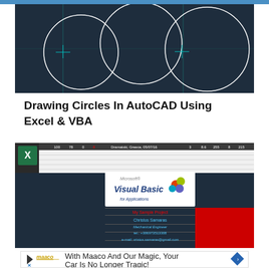[Figure (screenshot): AutoCAD drawing showing three overlapping circles on a dark blue grid background with white circle outlines]
Drawing Circles In AutoCAD Using Excel & VBA
[Figure (screenshot): Excel spreadsheet with VBA interface showing Microsoft Visual Basic for Applications logo, and AutoCAD drawing with project title block showing 'My Sample Project', 'Christos Samaras', contact info]
[Figure (infographic): Advertisement: Maaco logo with text 'With Maaco And Our Magic, Your Car Is No Longer Tragic!']